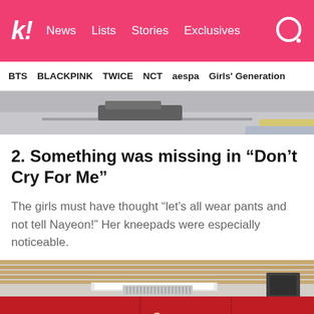k! News Lists Stories Exclusives
BTS BLACKPINK TWICE NCT aespa Girls' Generation
[Figure (photo): Top portion of an article image showing a street scene, partially cropped]
2. Something was missing in “Don’t Cry For Me”
The girls must have thought “let’s all wear pants and not tell Nayeon!” Her kneepads were especially noticeable.
[Figure (photo): Group of TWICE members in white outfits standing in a dance practice room with red walls and wood-paneled ceiling]